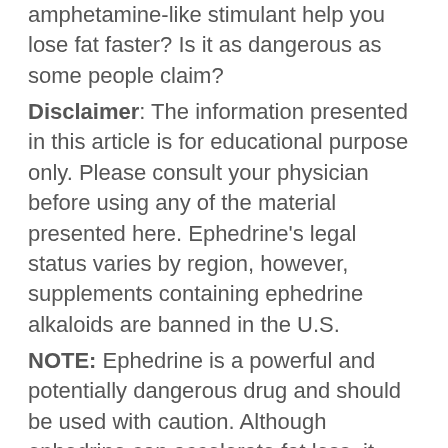amphetamine-like stimulant help you lose fat faster? Is it as dangerous as some people claim?
Disclaimer: The information presented in this article is for educational purpose only. Please consult your physician before using any of the material presented here. Ephedrine’s legal status varies by region, however, supplements containing ephedrine alkaloids are banned in the U.S.
NOTE: Ephedrine is a powerful and potentially dangerous drug and should be used with caution. Although ephedrine can accelerate fat loss, it shouldn’t not be thought of as a magic pill or a substitute for a sound training and nutrition programs.